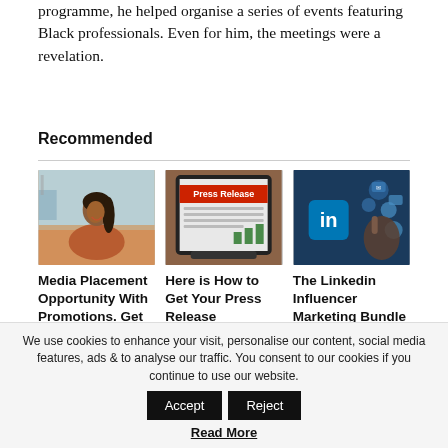programme, he helped organise a series of events featuring Black professionals. Even for him, the meetings were a revelation.
Recommended
[Figure (photo): Woman smiling at a dining table]
[Figure (photo): Tablet showing a Press Release document]
[Figure (photo): LinkedIn icon with social media icons and a hand pointing]
Media Placement Opportunity With Promotions. Get 25 Articles Placed &
Here is How to Get Your Press Release Distributed To 200+ Websites
The Linkedin Influencer Marketing Bundle For Your Business But Under $100
We use cookies to enhance your visit, personalise our content, social media features, ads & to analyse our traffic. You consent to our cookies if you continue to use our website.
Accept
Reject
Read More